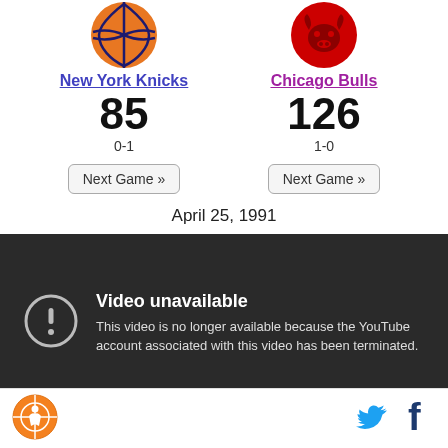[Figure (logo): New York Knicks basketball logo (orange basketball)]
New York Knicks
85
0-1
[Figure (logo): Chicago Bulls logo (red bull head)]
Chicago Bulls
126
1-0
Next Game »
Next Game »
April 25, 1991
[Figure (screenshot): YouTube video unavailable message on dark background. Circle with exclamation mark icon. Text: Video unavailable. This video is no longer available because the YouTube account associated with this video has been terminated.]
[Figure (logo): Sports website logo - orange circle with basketball player silhouette]
[Figure (logo): Twitter bird icon in cyan blue]
[Figure (logo): Facebook f icon in dark blue]